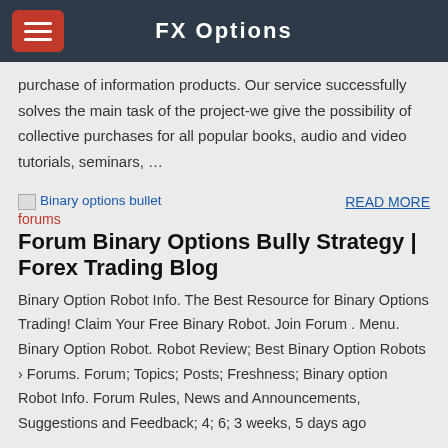FX Options
purchase of information products. Our service successfully solves the main task of the project-we give the possibility of collective purchases for all popular books, audio and video tutorials, seminars, …
[Figure (other): Broken image placeholder for Binary options bullet forums]
READ MORE
forums
Forum Binary Options Bully Strategy | Forex Trading Blog
Binary Option Robot Info. The Best Resource for Binary Options Trading! Claim Your Free Binary Robot. Join Forum . Menu. Binary Option Robot. Robot Review; Best Binary Option Robots › Forums. Forum; Topics; Posts; Freshness; Binary option Robot Info. Forum Rules, News and Announcements, Suggestions and Feedback; 4; 6; 3 weeks, 5 days ago